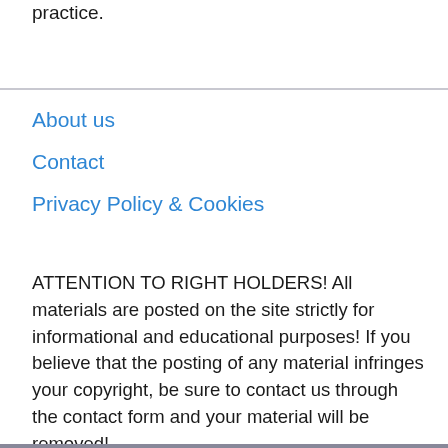practice.
About us
Contact
Privacy Policy & Cookies
ATTENTION TO RIGHT HOLDERS! All materials are posted on the site strictly for informational and educational purposes! If you believe that the posting of any material infringes your copyright, be sure to contact us through the contact form and your material will be removed!